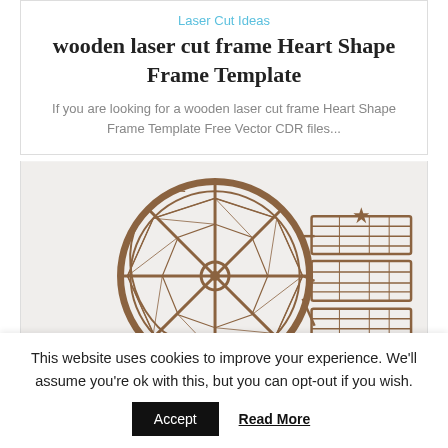Laser Cut Ideas
wooden laser cut frame Heart Shape Frame Template
If you are looking for a wooden laser cut frame Heart Shape Frame Template Free Vector CDR files...
[Figure (illustration): A 3D wooden laser-cut Ferris wheel structure with intricate lattice and decorative patterns, rendered in brown/tan color on a light gray background.]
This website uses cookies to improve your experience. We'll assume you're ok with this, but you can opt-out if you wish.
Accept   Read More